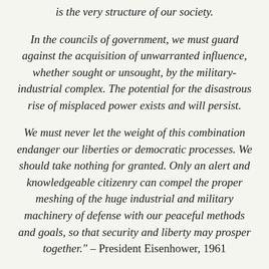is the very structure of our society.
In the councils of government, we must guard against the acquisition of unwarranted influence, whether sought or unsought, by the military-industrial complex. The potential for the disastrous rise of misplaced power exists and will persist.
We must never let the weight of this combination endanger our liberties or democratic processes. We should take nothing for granted. Only an alert and knowledgeable citizenry can compel the proper meshing of the huge industrial and military machinery of defense with our peaceful methods and goals, so that security and liberty may prosper together." – President Eisenhower, 1961